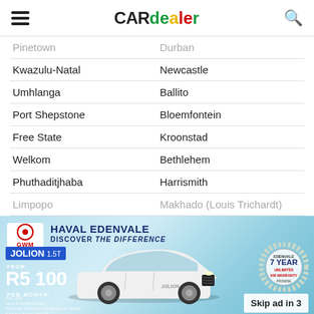CARdealer
Pinetown | Durban
Kwazulu-Natal | Newcastle
Umhlanga | Ballito
Port Shepstone | Bloemfontein
Free State | Kroonstad
Welkom | Bethlehem
Phuthaditjhaba | Harrismith
Limpopo | Makhado (Louis Trichardt)
[Figure (photo): GWM Haval Edenvale advertisement banner showing a white Haval Jolion 1.5T SUV. Text includes: HAVAL EDENVALE, DISCOVER THE DIFFERENCE, JOLION 1.5T, FROM R5 100 PER MONTH. 7 YEAR UNLIMITED KM WARRANTY badge. Skip ad in 3 button.]
Used & New Car Deals (104)